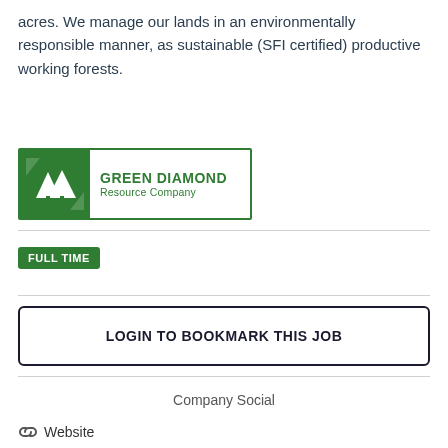acres. We manage our lands in an environmentally responsible manner, as sustainable (SFI certified) productive working forests.
[Figure (logo): Green Diamond Resource Company logo — green rectangle border with stylized mountain/tree icon on dark green background left side, company name in green bold text on white right side]
FULL TIME
LOGIN TO BOOKMARK THIS JOB
Company Social
Website